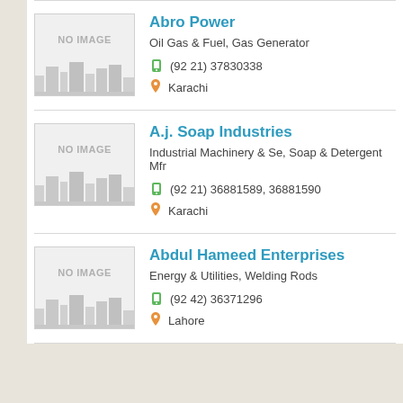Abro Power | Oil Gas & Fuel, Gas Generator | (92 21) 37830338 | Karachi
A.j. Soap Industries | Industrial Machinery & Se, Soap & Detergent Mfr | (92 21) 36881589, 36881590 | Karachi
Abdul Hameed Enterprises | Energy & Utilities, Welding Rods | (92 42) 36371296 | Lahore